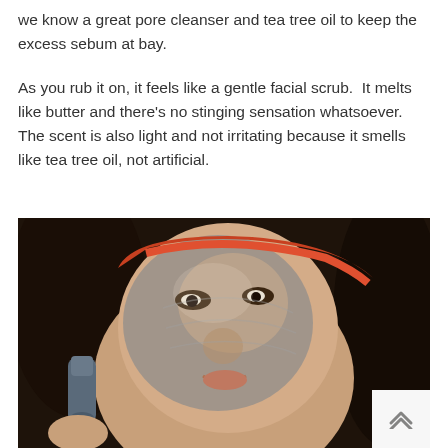we know a great pore cleanser and tea tree oil to keep the excess sebum at bay.
As you rub it on, it feels like a gentle facial scrub.  It melts like butter and there's no stinging sensation whatsoever.  The scent is also light and not irritating because it smells like tea tree oil, not artificial.
[Figure (photo): Woman applying a gray/charcoal product to her face with a cylindrical applicator. She is wearing a red/orange headband and has the product applied across her cheeks and nose area. She is smiling slightly.]